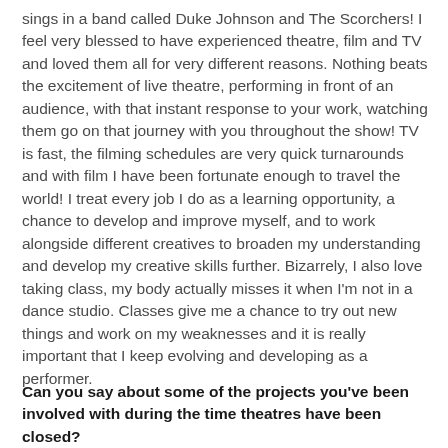sings in a band called Duke Johnson and The Scorchers! I feel very blessed to have experienced theatre, film and TV and loved them all for very different reasons. Nothing beats the excitement of live theatre, performing in front of an audience, with that instant response to your work, watching them go on that journey with you throughout the show! TV is fast, the filming schedules are very quick turnarounds and with film I have been fortunate enough to travel the world! I treat every job I do as a learning opportunity, a chance to develop and improve myself, and to work alongside different creatives to broaden my understanding and develop my creative skills further. Bizarrely, I also love taking class, my body actually misses it when I'm not in a dance studio. Classes give me a chance to try out new things and work on my weaknesses and it is really important that I keep evolving and developing as a performer.
Can you say about some of the projects you've been involved with during the time theatres have been closed?